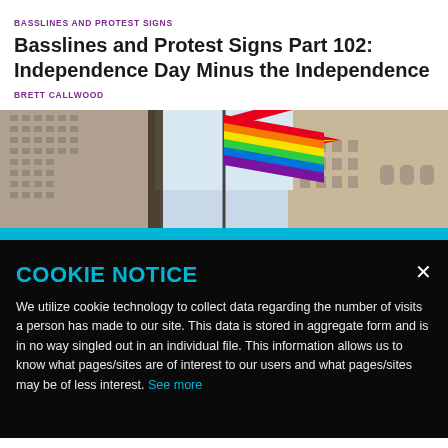BASSLINES AND PROTEST SIGNS
Basslines and Protest Signs Part 102: Independence Day Minus the Independence
BRETT CALLWOOD
[Figure (photo): A rainbow pride flag flying between buildings against a light sky, with urban architecture on either side]
COOKIE NOTICE
We utilize cookie technology to collect data regarding the number of visits a person has made to our site. This data is stored in aggregate form and is in no way singled out in an individual file. This information allows us to know what pages/sites are of interest to our users and what pages/sites may be of less interest. See more